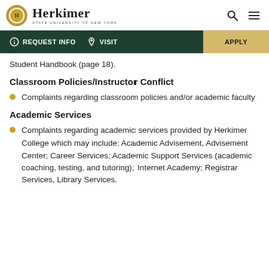Herkimer STATE UNIVERSITY OF NEW YORK
Student Handbook (page 18).
Classroom Policies/Instructor Conflict
Complaints regarding classroom policies and/or academic faculty
Academic Services
Complaints regarding academic services provided by Herkimer College which may include: Academic Advisement, Advisement Center; Career Services; Academic Support Services (academic coaching, testing, and tutoring); Internet Academy; Registrar Services, Library Services.